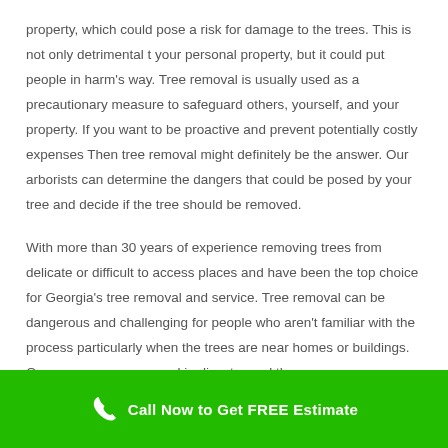property, which could pose a risk for damage to the trees. This is not only detrimental t your personal property, but it could put people in harm's way. Tree removal is usually used as a precautionary measure to safeguard others, yourself, and your property. If you want to be proactive and prevent potentially costly expenses Then tree removal might definitely be the answer. Our arborists can determine the dangers that could be posed by your tree and decide if the tree should be removed.
With more than 30 years of experience removing trees from delicate or difficult to access places and have been the top choice for Georgia's tree removal and service. Tree removal can be dangerous and challenging for people who aren't familiar with the process particularly when the trees are near homes or buildings. One wrong move can end in disaster and the
Call Now to Get FREE Estimate